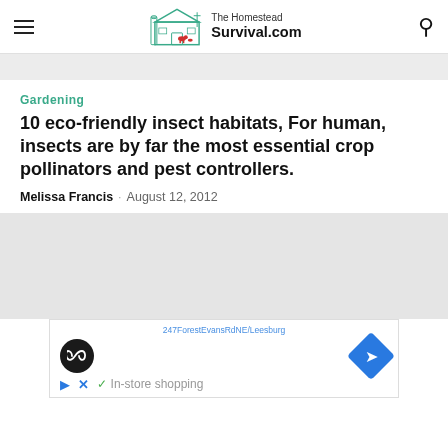The Homestead Survival.com
Gardening
10 eco-friendly insect habitats, For human, insects are by far the most essential crop pollinators and pest controllers.
Melissa Francis · August 12, 2012
[Figure (other): Gray placeholder image area for article photo]
[Figure (other): Advertisement banner with URL, circle icon with infinity-like symbol, blue diamond navigation icon, play and X buttons, and in-store shopping text]